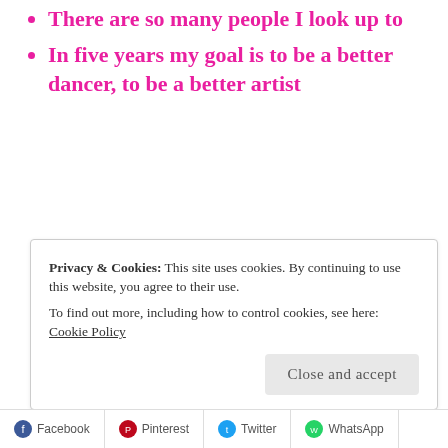There are so many people I look up to
In five years my goal is to be a better dancer, to be a better artist
Privacy & Cookies: This site uses cookies. By continuing to use this website, you agree to their use.
To find out more, including how to control cookies, see here: Cookie Policy
Facebook  Pinterest  Twitter  WhatsApp